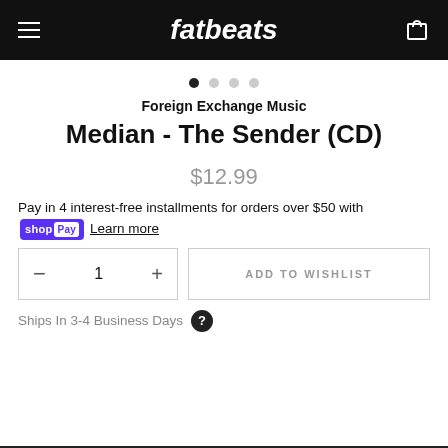fatbeats
Foreign Exchange Music
Median - The Sender (CD)
$12.99
Pay in 4 interest-free installments for orders over $50 with Shop Pay Learn more
1 ADD TO WISHLIST
Ships In 3-4 Business Days